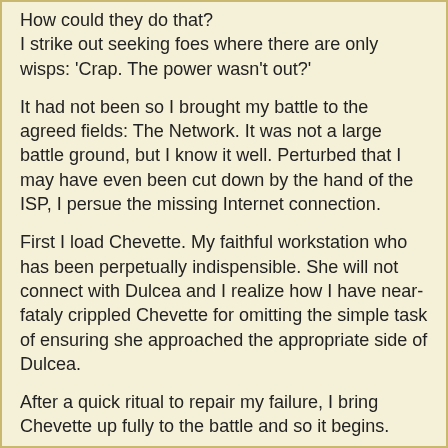How could they do that? I strike out seeking foes where there are only wisps: 'Crap. The power wasn't out?'
It had not been so I brought my battle to the agreed fields: The Network. It was not a large battle ground, but I know it well. Perturbed that I may have even been cut down by the hand of the ISP, I persue the missing Internet connection.
First I load Chevette. My faithful workstation who has been perpetually indispensible. She will not connect with Dulcea and I realize how I have near-fataly crippled Chevette for omitting the simple task of ensuring she approached the appropriate side of Dulcea.
After a quick ritual to repair my failure, I bring Chevette up fully to the battle and so it begins.
Failing to connect immediately, I try the obvious which is to renew the IP on Dulcea. Realizing I had possibly erred in my priorities, I disconnected the display from Chevette and sought Nikita even before Dulcea could issue her cry.